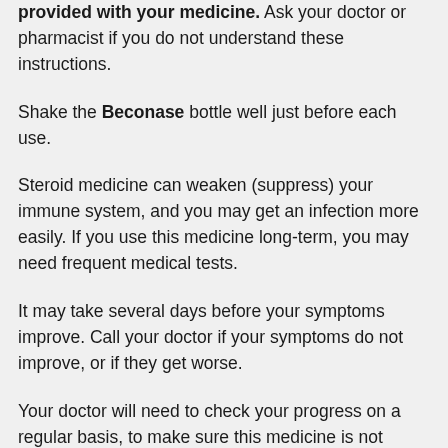provided with your medicine. Ask your doctor or pharmacist if you do not understand these instructions.
Shake the Beconase bottle well just before each use.
Steroid medicine can weaken (suppress) your immune system, and you may get an infection more easily. If you use this medicine long-term, you may need frequent medical tests.
It may take several days before your symptoms improve. Call your doctor if your symptoms do not improve, or if they get worse.
Your doctor will need to check your progress on a regular basis, to make sure this medicine is not causing harm to your nose or sinuses.